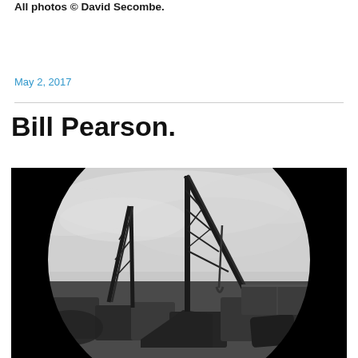All photos © David Secombe.
May 2, 2017
Bill Pearson.
[Figure (photo): Black and white photograph viewed through a circular tunnel/arch opening. Shows a scrapyard or junkyard with cranes, wrecked vehicles and machinery under an overcast sky.]